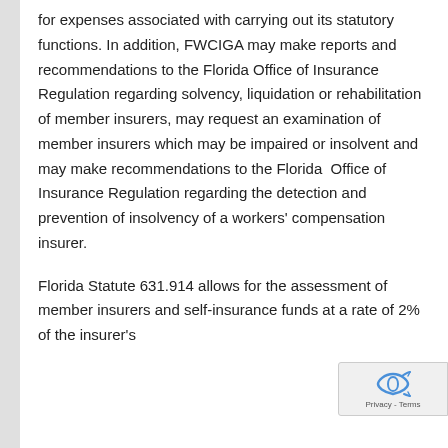for expenses associated with carrying out its statutory functions. In addition, FWCIGA may make reports and recommendations to the Florida Office of Insurance Regulation regarding solvency, liquidation or rehabilitation of member insurers, may request an examination of member insurers which may be impaired or insolvent and may make recommendations to the Florida  Office of Insurance Regulation regarding the detection and prevention of insolvency of a workers' compensation insurer.
Florida Statute 631.914 allows for the assessment of member insurers and self-insurance funds at a rate of 2% of the insurer's